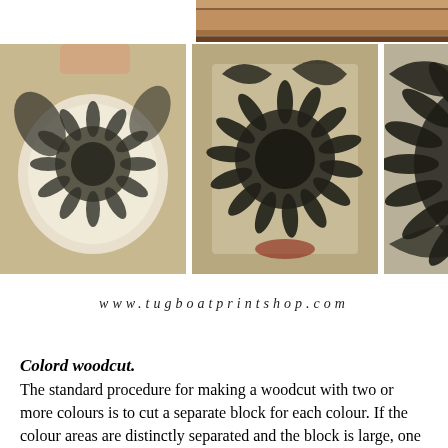[Figure (photo): Top partial view of a wooden printing block or press handle, brown wood tones]
[Figure (photo): Strip of four photographs showing the process of making a woodcut print: a carved floral block being inked, the block with ink applied, close-up of the carved sunflower block, and a grid of printed floral stamps on paper]
www.tugboatprintshop.com
Colord woodcut.
The standard procedure for making a woodcut with two or more colours is to cut a separate block for each colour. If the colour areas are distinctly separated and the block is large, one block can be used for more than one colour. All blocks must be the same size to assure that in the finished print the colours will appear in their correct relation to one another, that is to say,